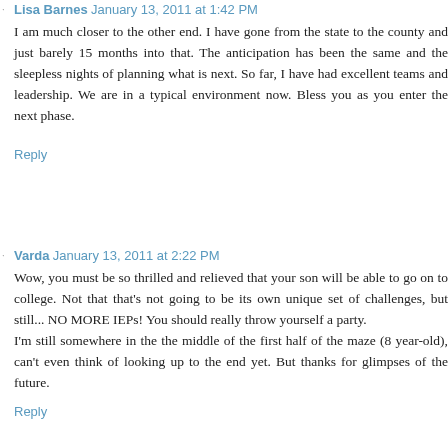Lisa Barnes · January 13, 2011 at 1:42 PM
I am much closer to the other end. I have gone from the state to the county and just barely 15 months into that. The anticipation has been the same and the sleepless nights of planning what is next. So far, I have had excellent teams and leadership. We are in a typical environment now. Bless you as you enter the next phase.
Reply
Varda · January 13, 2011 at 2:22 PM
Wow, you must be so thrilled and relieved that your son will be able to go on to college. Not that that's not going to be its own unique set of challenges, but still... NO MORE IEPs! You should really throw yourself a party.
I'm still somewhere in the the middle of the first half of the maze (8 year-old), can't even think of looking up to the end yet. But thanks for glimpses of the future.
Reply